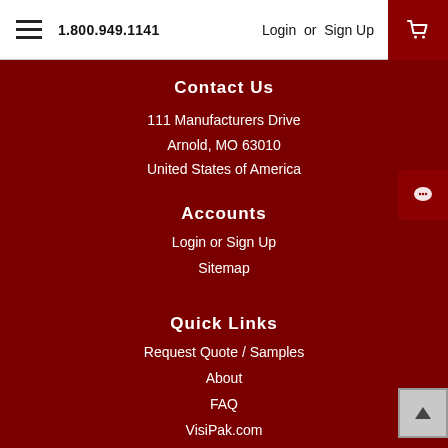1.800.949.1141   Login or Sign Up
Contact Us
111 Manufacturers Drive
Arnold, MO 63010
United States of America
Accounts
Login or Sign Up
Sitemap
Quick Links
Request Quote / Samples
About
FAQ
VisiPak.com